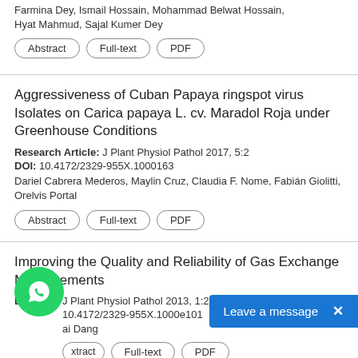Farmina Dey, Ismail Hossain, Mohammad Belwat Hossain, Hyat Mahmud, Sajal Kumer Dey
Abstract | Full-text | PDF
Aggressiveness of Cuban Papaya ringspot virus Isolates on Carica papaya L. cv. Maradol Roja under Greenhouse Conditions
Research Article: J Plant Physiol Pathol 2017, 5:2
DOI: 10.4172/2329-955X.1000163
Dariel Cabrera Mederos, Maylin Cruz, Claudia F. Nome, Fabián Giolitti, Orelvis Portal
Abstract | Full-text | PDF
Improving the Quality and Reliability of Gas Exchange Measurements
Editorial: J Plant Physiol Pathol 2013, 1:2
10.4172/2329-955X.1000e101
ai Dang
Abstract | Full-text | PDF